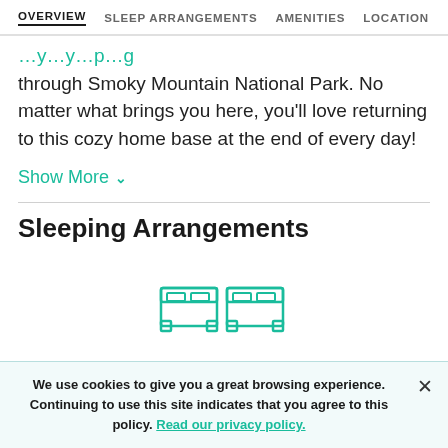OVERVIEW  SLEEP ARRANGEMENTS  AMENITIES  LOCATION
through Smoky Mountain National Park. No matter what brings you here, you'll love returning to this cozy home base at the end of every day!
Show More
Sleeping Arrangements
[Figure (illustration): Two twin bed icons in teal outline style]
We use cookies to give you a great browsing experience. Continuing to use this site indicates that you agree to this policy. Read our privacy policy.